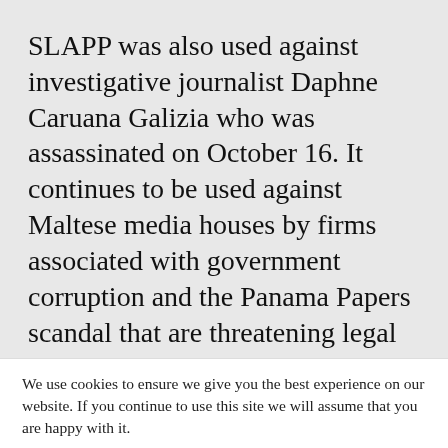SLAPP was also used against investigative journalist Daphne Caruana Galizia who was assassinated on October 16. It continues to be used against Maltese media houses by firms associated with government corruption and the Panama Papers scandal that are threatening legal action in the United States and the UK.
We use cookies to ensure we give you the best experience on our website. If you continue to use this site we will assume that you are happy with it.
Privacy Policy
OK